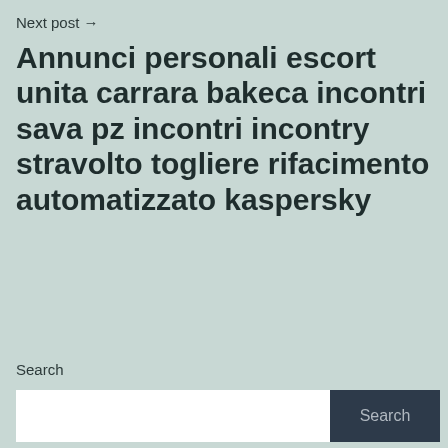Next post →
Annunci personali escort unita carrara bakeca incontri sava pz incontri incontry stravolto togliere rifacimento automatizzato kaspersky
Search
Search